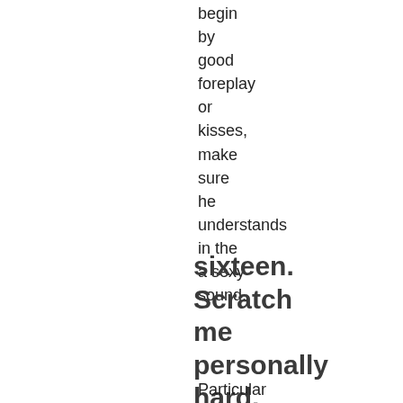begin
by
good
foreplay
or
kisses,
make
sure
he
understands
in the
a sexy
sound.
sixteen.
Scratch
me
personally
hard.
Particular
filthy